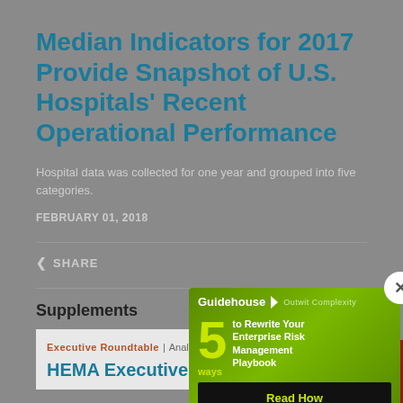Median Indicators for 2017 Provide Snapshot of U.S. Hospitals' Recent Operational Performance
Hospital data was collected for one year and grouped into five categories.
FEBRUARY 01, 2018
SHARE
Supplements
Executive Roundtable | Analytics
HEMA Executive Roundtabl…
[Figure (infographic): Guidehouse ad popup: '5 ways to Rewrite Your Enterprise Risk Management Playbook' with Read How button and close (X) button]